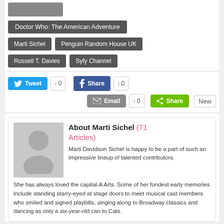(partial tag button, clipped)
Doctor Who: The American Adventure
Marti Sichel | Penguin Random House UK
Russell T. Davies | Syfy Channel
Tweet 0 | Share 0
Email 0 | Share New
About Marti Sichel (71 Articles) — Marti Davidson Sichel is happy to be a part of such an impressive lineup of talented contributors. She has always loved the capital-A Arts. Some of her fondest early memories include standing starry-eyed at stage doors to meet musical cast members who smiled and signed playbills, singing along to Broadway classics and dancing as only a six-year-old can to Cats.